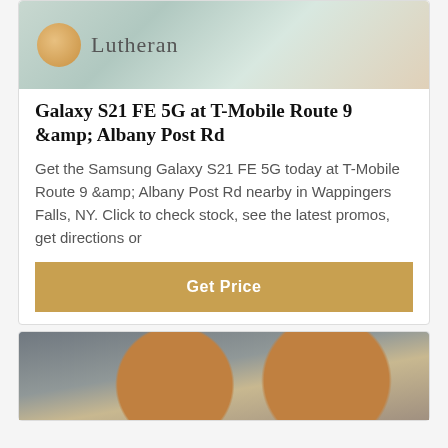[Figure (photo): Top banner image with tan/teal background showing 'Lutheran' text with a golden circular logo]
Galaxy S21 FE 5G at T-Mobile Route 9 &amp; Albany Post Rd
Get the Samsung Galaxy S21 FE 5G today at T-Mobile Route 9 &amp; Albany Post Rd nearby in Wappingers Falls, NY. Click to check stock, see the latest promos, get directions or
Get Price
[Figure (photo): Industrial machinery image showing large red and tan wheels/pulleys in a factory setting]